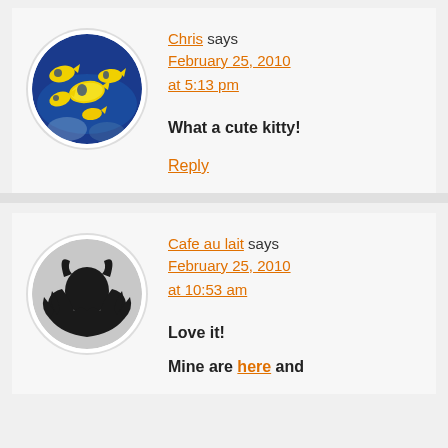[Figure (photo): Circular avatar with yellow tropical fish on blue ocean background]
Chris says February 25, 2010 at 5:13 pm
What a cute kitty!
Reply
[Figure (illustration): Circular avatar with black devil/demon silhouette on gray background]
Cafe au lait says February 25, 2010 at 10:53 am
Love it!
Mine are here and